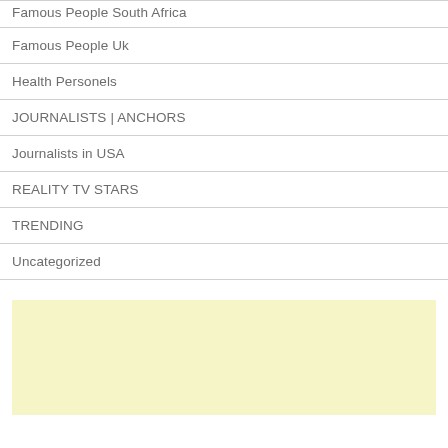Famous People South Africa
Famous People Uk
Health Personels
JOURNALISTS | ANCHORS
Journalists in USA
REALITY TV STARS
TRENDING
Uncategorized
[Figure (other): Yellow advertisement block]